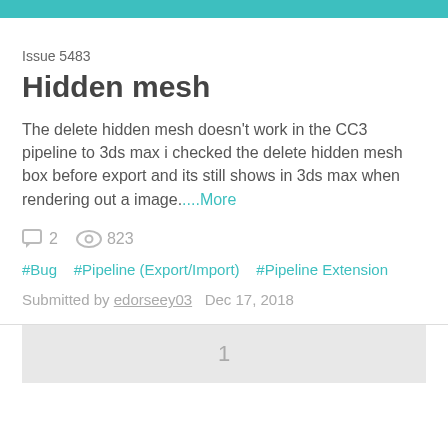Issue 5483
Hidden mesh
The delete hidden mesh doesn't work in the CC3 pipeline to 3ds max i checked the delete hidden mesh box before export and its still shows in 3ds max when rendering out a image....More
2   823
#Bug   #Pipeline (Export/Import)   #Pipeline Extension
Submitted by edorseey03   Dec 17, 2018
1